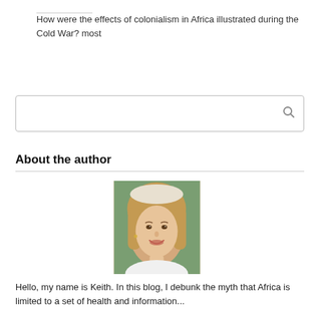How were the effects of colonialism in Africa illustrated during the Cold War? most
[Figure (other): Search box with magnifying glass icon]
About the author
[Figure (photo): Portrait photo of a young blonde woman smiling, wearing a white outfit, outdoors background]
Hello, my name is Keith. In this blog, I debunk the myth that Africa is limited to a set of health and information...